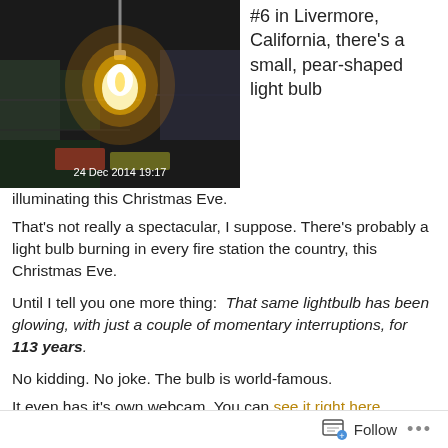[Figure (photo): Security camera still image dated 24 Dec 2014 19:17 showing a glowing light bulb hanging in what appears to be a fire station, with equipment visible in the background.]
#6 in Livermore, California, there's a small, pear-shaped light bulb illuminating this Christmas Eve.
That's not really a spectacular, I suppose. There's probably a light bulb burning in every fire station the country, this Christmas Eve.
Until I tell you one more thing:  That same lightbulb has been glowing, with just a couple of momentary interruptions, for 113 years.
No kidding. No joke. The bulb is world-famous.
It even has it's own webcam. You can see it right here.
Follow ...